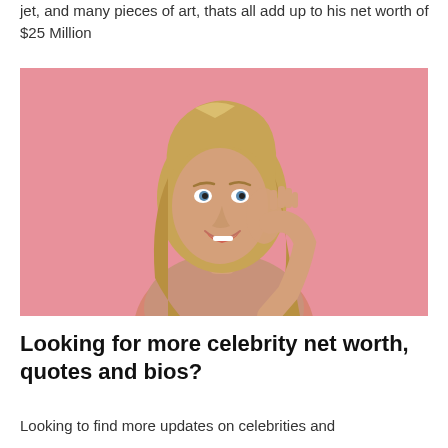jet, and many pieces of art, thats all add up to his net worth of $25 Million
[Figure (photo): A smiling blonde woman in a pink floral top against a pink background, holding her hand up near her ear as if listening.]
Looking for more celebrity net worth, quotes and bios?
Looking to find more updates on celebrities and